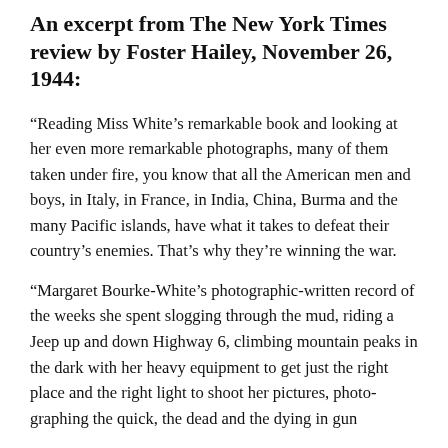An excerpt from The New York Times review by Foster Hailey, November 26, 1944:
“Reading Miss White’s remarkable book and looking at her even more remarkable photographs, many of them taken under fire, you know that all the American men and boys, in Italy, in France, in India, China, Burma and the many Pacific islands, have what it takes to defeat their country’s enemies. That’s why they’re winning the war.
“Margaret Bourke-White’s photographic-written record of the weeks she spent slogging through the mud, riding a Jeep up and down Highway 6, climbing mountain peaks in the dark with her heavy equipment to get just the right place and the right light to shoot her pictures, photo-graphing the quick, the dead and the dying in gun